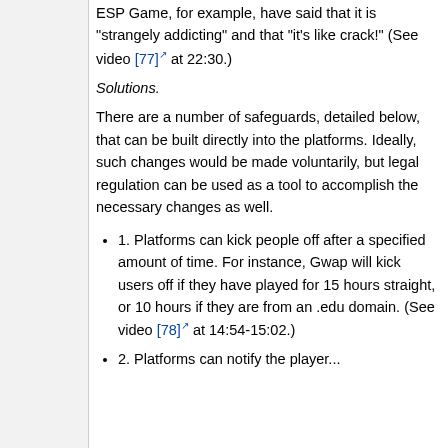ESP Game, for example, have said that it is "strangely addicting" and that "it's like crack!" (See video [77] at 22:30.)
Solutions.
There are a number of safeguards, detailed below, that can be built directly into the platforms. Ideally, such changes would be made voluntarily, but legal regulation can be used as a tool to accomplish the necessary changes as well.
1. Platforms can kick people off after a specified amount of time. For instance, Gwap will kick users off if they have played for 15 hours straight, or 10 hours if they are from an .edu domain. (See video [78] at 14:54-15:02.)
2. Platforms can notify the player...